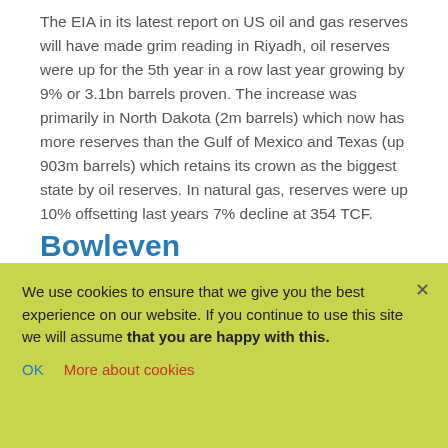The EIA in its latest report on US oil and gas reserves will have made grim reading in Riyadh, oil reserves were up for the 5th year in a row last year growing by 9% or 3.1bn barrels proven. The increase was primarily in North Dakota (2m barrels) which now has more reserves than the Gulf of Mexico and Texas (up 903m barrels) which retains its crown as the biggest state by oil reserves. In natural gas, reserves were up 10% offsetting last years 7% decline at 354 TCF.
Bowleven
Last week I took the opportunity offered to me to sit down with Kevin Hart and Kerry Crawford, CEO and Finance Director respectively at Bowleven. Having turned more positive on Bowleven, after following it for a long time I was keen to understand how things were going, especially at Etinde where the authorisation approval had triggered my more positive stance. Obviously the oil price movement in the same time frame has left the
We use cookies to ensure that we give you the best experience on our website. If you continue to use this site we will assume that you are happy with this.